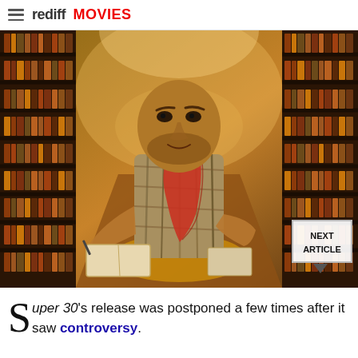rediff MOVIES
[Figure (photo): A man in a plaid shirt with a red cloth draped over his shoulder sits on the floor in a library aisle surrounded by shelves of books, writing in a notebook. A 'NEXT ARTICLE' button overlay appears at bottom right.]
Super 30's release was postponed a few times after it saw controversy.